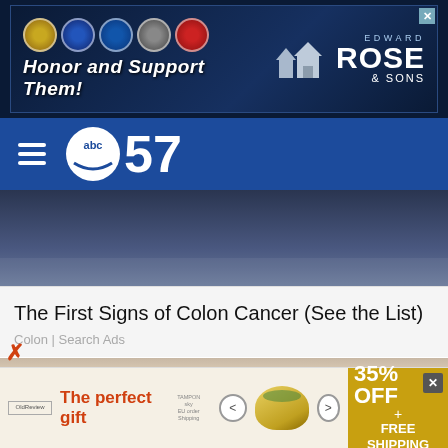[Figure (photo): Top advertisement banner for Edward Rose & Sons with military seals and text 'Honor and Support Them!']
[Figure (logo): ABC57 news logo on blue navigation bar with hamburger menu icon]
[Figure (photo): Partial view of a dark blue background at the top of a news article]
The First Signs of Colon Cancer (See the List)
Colon | Search Ads
[Figure (photo): Photo of a woman with dark hair holding a brush near her nose/eye area, applying makeup]
[Figure (photo): Bottom advertisement for 'The perfect gift' with 35% OFF + FREE SHIPPING offer, showing a bowl product]